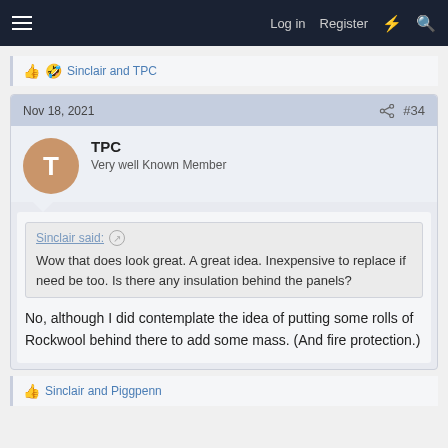Log in  Register
👍 🤣 Sinclair and TPC
Nov 18, 2021  #34
TPC
Very well Known Member
Sinclair said: ⊕
Wow that does look great. A great idea. Inexpensive to replace if need be too. Is there any insulation behind the panels?
No, although I did contemplate the idea of putting some rolls of Rockwool behind there to add some mass. (And fire protection.)
👍 Sinclair and Piggpenn